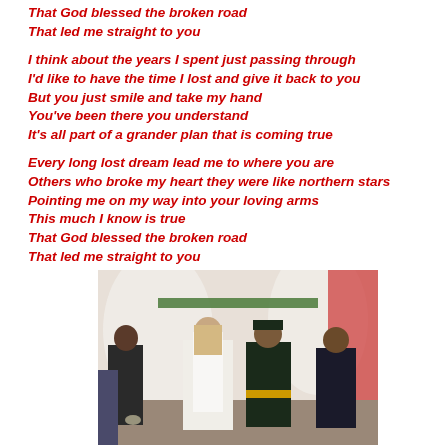That God blessed the broken road
That led me straight to you
I think about the years I spent just passing through
I'd like to have the time I lost and give it back to you
But you just smile and take my hand
You've been there you understand
It's all part of a grander plan that is coming true
Every long lost dream lead me to where you are
Others who broke my heart they were like northern stars
Pointing me on my way into your loving arms
This much I know is true
That God blessed the broken road
That led me straight to you
[Figure (photo): Wedding photo showing a bride in white dress and veil with back to camera, a groom in US Marine Corps dress uniform, and other attendees, in a decorated venue with white draping and red accents.]